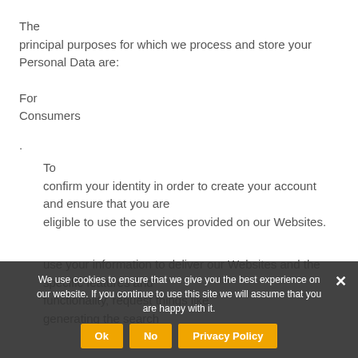The principal purposes for which we process and store your Personal Data are:
For Consumers
. To confirm your identity in order to create your account and ensure that you are eligible to use the services provided on our Websites.
use your information to deliver our Websites and the specific features and functionality, request things like generating the search
We use cookies to ensure that we give you the best experience on our website. If you continue to use this site we will assume that you are happy with it.